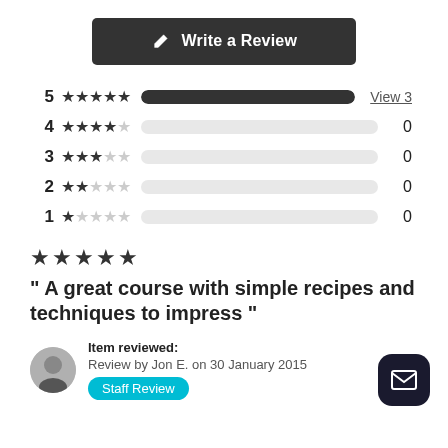[Figure (other): Dark rounded button with pencil icon and text 'Write a Review']
[Figure (bar-chart): Star ratings distribution]
[Figure (other): 5 filled stars rating]
" A great course with simple recipes and techniques to impress "
Item reviewed:
Review by Jon E. on 30 January 2015
[Figure (other): Staff Review badge in teal/cyan color]